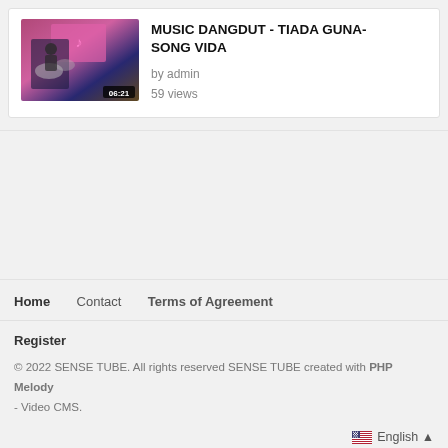[Figure (screenshot): Video thumbnail for MUSIC DANGDUT - TIADA GUNA- SONG VIDA showing a music performance scene with pink/purple background and a drummer, duration badge showing 06:21]
MUSIC DANGDUT - TIADA GUNA- SONG VIDA
by admin
59 views
Home   Contact   Terms of Agreement
Register
© 2022 SENSE TUBE. All rights reserved SENSE TUBE created with PHP Melody - Video CMS.
English ▲